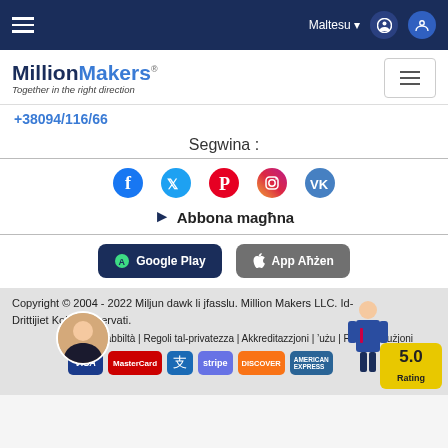MillionMakers – Navigation bar with Maltesu language selector
[Figure (logo): MillionMakers logo with tagline 'Together in the right direction']
+38094/116/66
Segwina :
[Figure (infographic): Social media icons: Facebook, Twitter, Pinterest, Instagram, VK]
Abbona magħna
[Figure (infographic): Google Play and App Aħżen app store buttons]
Copyright © 2004 - 2022 Miljun dawk li jfasslu. Million Makers LLC. Id-Drittijiet Kollha Riservati.
Ċaħda ta' responsabbiltà | Regoli tal-privatezza | Akkreditazzjoni | Kondizzjonijiet tal-użu | Politika rifużjoni
[Figure (infographic): Payment method badges: VISA, MasterCard, Alipay, Stripe, Discover, American Express. Rating badge showing 5.0]